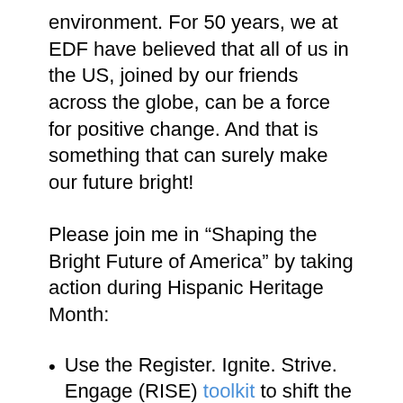environment. For 50 years, we at EDF have believed that all of us in the US, joined by our friends across the globe, can be a force for positive change. And that is something that can surely make our future bright!
Please join me in “Shaping the Bright Future of America” by taking action during Hispanic Heritage Month:
Use the Register. Ignite. Strive. Engage (RISE) toolkit to shift the Hispanic Heritage cultural celebration to a month of action around voter registration and community organizing